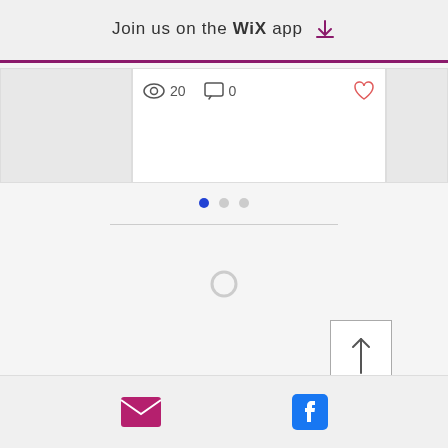Join us on the WiX app ↓
[Figure (screenshot): Blog post card showing view count 20, comment count 0, and a heart/like icon. Part of a Wix website interface.]
[Figure (infographic): Pagination dots: one filled blue dot and two light grey dots indicating a carousel position.]
[Figure (infographic): Loading spinner circle in light grey, indicating content loading.]
[Figure (infographic): Back to top button: a square with border containing an upward arrow.]
[Figure (infographic): Footer with email envelope icon (pink/magenta) on the left and Facebook logo icon (blue) on the right.]